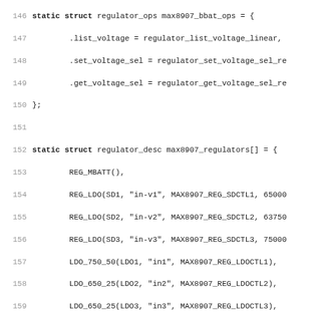Source code listing showing static struct regulator_ops max8907_bbat_ops and static struct regulator_desc max8907_regulators[] definitions, lines 146-178
146: static struct regulator_ops max8907_bbat_ops = {
147:     .list_voltage = regulator_list_voltage_linear,
148:     .set_voltage_sel = regulator_set_voltage_sel_re
149:     .get_voltage_sel = regulator_get_voltage_sel_re
150: };
151:
152: static struct regulator_desc max8907_regulators[] = {
153:     REG_MBATT(),
154:     REG_LDO(SD1, "in-v1", MAX8907_REG_SDCTL1, 65000
155:     REG_LDO(SD2, "in-v2", MAX8907_REG_SDCTL2, 63750
156:     REG_LDO(SD3, "in-v3", MAX8907_REG_SDCTL3, 75000
157:     LDO_750_50(LDO1, "in1", MAX8907_REG_LDOCTL1),
158:     LDO_650_25(LDO2, "in2", MAX8907_REG_LDOCTL2),
159:     LDO_650_25(LDO3, "in3", MAX8907_REG_LDOCTL3),
160:     LDO_750_50(LDO4, "in4", MAX8907_REG_LDOCTL4),
161:     LDO_750_50(LDO5, "in5", MAX8907_REG_LDOCTL5),
162:     LDO_750_50(LDO6, "in6", MAX8907_REG_LDOCTL6),
163:     LDO_750_50(LDO7, "in7", MAX8907_REG_LDOCTL7),
164:     LDO_750_50(LDO8, "in8", MAX8907_REG_LDOCTL8),
165:     LDO_750_50(LDO9, "in9", MAX8907_REG_LDOCTL9),
166:     LDO_750_50(LDO10, "in10", MAX8907_REG_LDOCTL10
167:     LDO_750_50(LDO11, "in11", MAX8907_REG_LDOCTL11
168:     LDO_750_50(LDO12, "in12", MAX8907_REG_LDOCTL12
169:     LDO_750_50(LDO13, "in13", MAX8907_REG_LDOCTL13
170:     LDO_750_50(LDO14, "in14", MAX8907_REG_LDOCTL14
171:     LDO_750_50(LDO15, "in15", MAX8907_REG_LDOCTL15
172:     LDO_750_50(LDO16, "in16", MAX8907_REG_LDOCTL16
173:     LDO_650_25(LDO17, "in17", MAX8907_REG_LDOCTL17
174:     LDO_650_25(LDO18, "in18", MAX8907_REG_LDOCTL18
175:     LDO_750_50(LDO19, "in19", MAX8907_REG_LDOCTL19
176:     LDO_750_50(LDO20, "in20", MAX8907_REG_LDOCTL20
177:     REG_OUT5V(OUT5V, "mbatt", MAX8907_REG_OUT5VEN,
178:     REG_OUT5V(OUT33V, "mbatt", MAX8907_REG_OUT33V